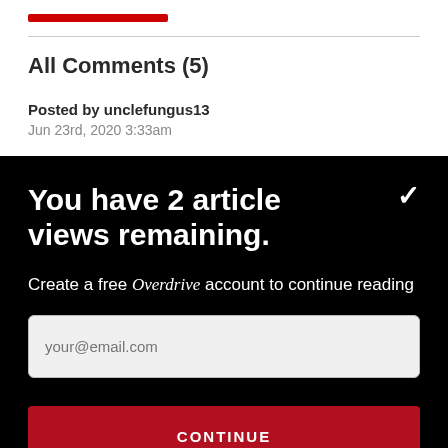All Comments (5)
Posted by unclefungus13
Jun 23rd, 2020 3:33am
You have 2 article views remaining.
Create a free Overdrive account to continue reading
your@email.com
CONTINUE